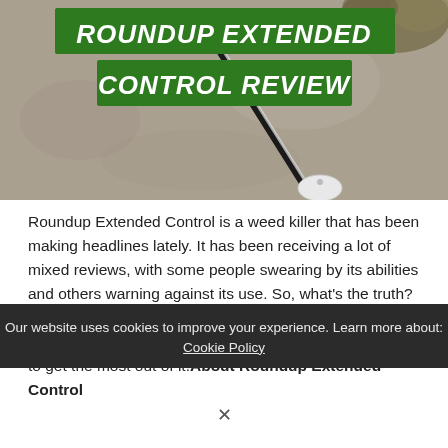[Figure (photo): Hero image of a garden tool (hoe/weeder) on a concrete/gravel surface with some dead grass/weeds in the top right corner. Overlaid with two green banner text blocks reading 'ROUNDUP EXTENDED' and 'CONTROL REVIEW' in bold italic white text on a green background.]
Roundup Extended Control is a weed killer that has been making headlines lately. It has been receiving a lot of mixed reviews, with some people swearing by its abilities and others warning against its use. So, what's the truth? Is it worth your money? In this article, we will answer all of your questions and give you some useful tips on how to get the most out of it!About Roundup Extended Control
Our website uses cookies to improve your experience. Learn more about: Cookie Policy